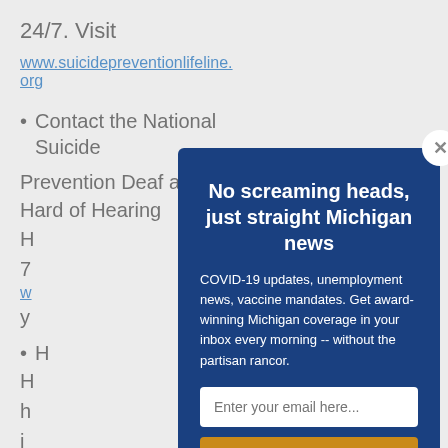24/7. Visit
www.suicidepreventionlifeline.org
Contact the National Suicide
Prevention Deaf and Hard of Hearing
H
7
w
y
H
H
h
i
n
[Figure (screenshot): Newsletter subscription modal popup with dark blue background. Title reads 'No screaming heads, just straight Michigan news'. Body text: 'COVID-19 updates, unemployment news, vaccine mandates. Get award-winning Michigan coverage in your inbox every morning -- without the partisan rancor.' Email input field with placeholder 'Enter your email here...' and a Subscribe button in gold/amber color. Footer text: 'We do not sell or share your information with anyone.' Close button (X) in top-right corner.]